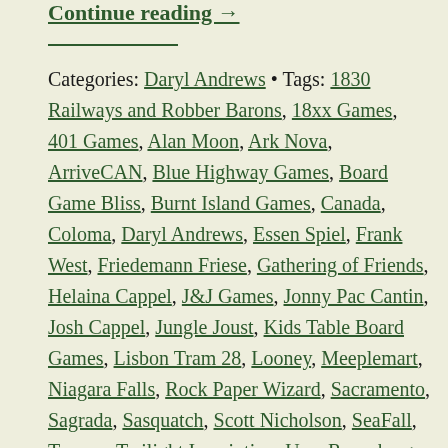Continue reading →
Categories: Daryl Andrews • Tags: 1830 Railways and Robber Barons, 18xx Games, 401 Games, Alan Moon, Ark Nova, ArriveCAN, Blue Highway Games, Board Game Bliss, Burnt Island Games, Canada, Coloma, Daryl Andrews, Essen Spiel, Frank West, Friedemann Friese, Gathering of Friends, Helaina Cappel, J&J Games, Jonny Pac Cantin, Josh Cappel, Jungle Joust, Kids Table Board Games, Lisbon Tram 28, Looney, Meeplemart, Niagara Falls, Rock Paper Wizard, Sacramento, Sagrada, Sasquatch, Scott Nicholson, SeaFall, Tooney, Twilight Inscription, Uwe Rosenberg, Viking Hobby, Wasabi